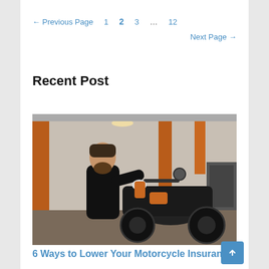← Previous Page   1   2   3   …   12
Next Page →
Recent Post
[Figure (photo): A bearded man in a black shirt working on a black motorcycle engine in a shop with orange columns in the background]
6 Ways to Lower Your Motorcycle Insurance